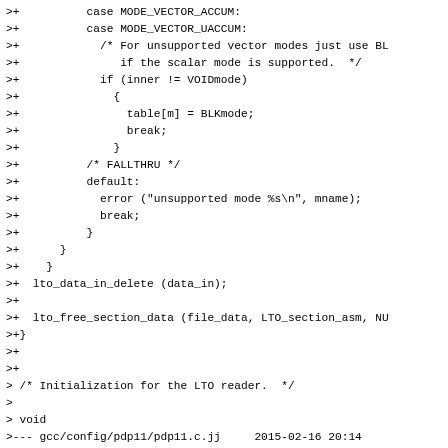Code diff showing C source changes including vector mode handling, lto_data_in_delete, lto_free_section_data calls, LTO reader initialization comment, and pdp11.c file diff header with false values.